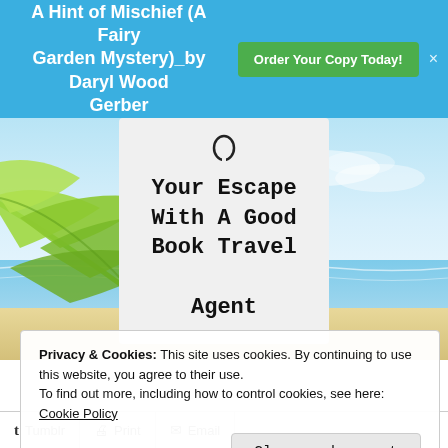A Hint of Mischief (A Fairy Garden Mystery)_by Daryl Wood Gerber
Order Your Copy Today!
[Figure (illustration): Beach scene background with palm leaves on the left and sky/water on the right]
Your Escape With A Good Book Travel Agent
Privacy & Cookies: This site uses cookies. By continuing to use this website, you agree to their use.
To find out more, including how to control cookies, see here:
Cookie Policy
Close and accept
Tumblr   Print   Email